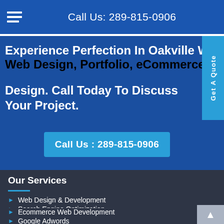Call Us: 289-815-0906
Experience Perfection In Oakville Web Design. Call Today To Discuss Your Project.
Web Design, Portfolio, Ecommerce Po...
Call Us : 289-815-0906
Our Services
Web Design & Development
Search Engine Optimization
Social Media Marketing
Ecommerce Web Development
Google Adwords